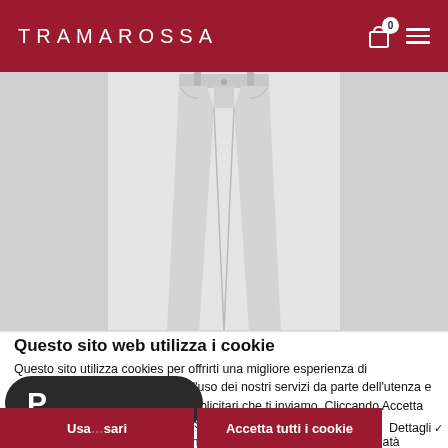TRAMAROSSA
[Figure (photo): Product photo of light grey/white slim jeans on a white/light grey background, shown from waist to ankle, displayed in three-column layout with darker grey side panels]
Questo sito web utilizza i cookie
Questo sito utilizza cookies per offrirti una migliore esperienza di navigazione avere statistiche sull'uso dei nostri servizi da parte dell'utenza e per personalizzare i contenuti pubblicitari che ti inviamo. Cliccando Accetta se acconsenti all'uso dei cookie. Se vuoi saperne di più o negare il consenso clicco... 14 anni il tuo consenso è legittimo se autorizzato da... tà genitoriale.
[Figure (logo): PayPal logo dark pill/button overlay with white P letter on dark rounded rectangle background]
Usa ... sari
Accetta tutti i cookie
Dettagli